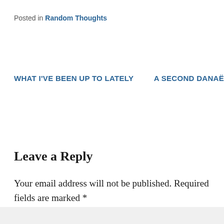Posted in Random Thoughts
WHAT I'VE BEEN UP TO LATELY
A SECOND DANAË
Leave a Reply
Your email address will not be published. Required fields are marked *